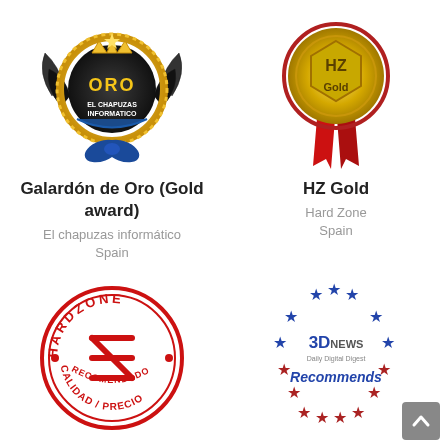[Figure (logo): El Chapuzas Informático Oro (Gold award) badge — black medallion with golden wings and 'ORO' text]
Galardón de Oro (Gold award)
El chapuzas informático
Spain
[Figure (logo): HZ Gold award — golden medal with red ribbon and 'HZ Gold' text]
HZ Gold
Hard Zone
Spain
[Figure (logo): HardZone red circular stamp logo reading 'HARDZONE RECOMENDADO CALIDAD/PRECIO' with HZ logo in center]
[Figure (logo): 3DNews Daily Digital Digest Recommends award — circular badge with blue and red stars and 'Recommends' text in italic]